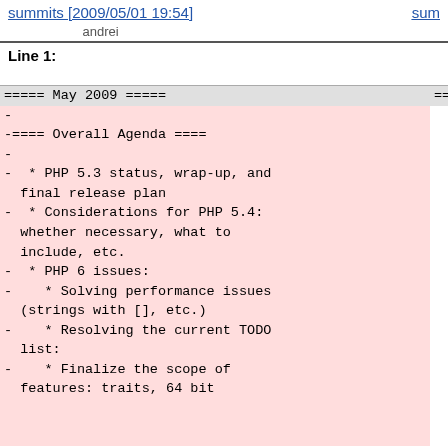summits [2009/05/01 19:54]
andrei
sum
Line 1:
Line 1:
===== May 2009 =====
-
-==== Overall Agenda ====
-
-  * PHP 5.3 status, wrap-up, and final release plan
-  * Considerations for PHP 5.4: whether necessary, what to include, etc.
-  * PHP 6 issues:
-    * Solving performance issues (strings with [], etc.)
-    * Resolving the current TODO list:
-    * Finalize the scope of features: traits, 64 bit
===== Ma